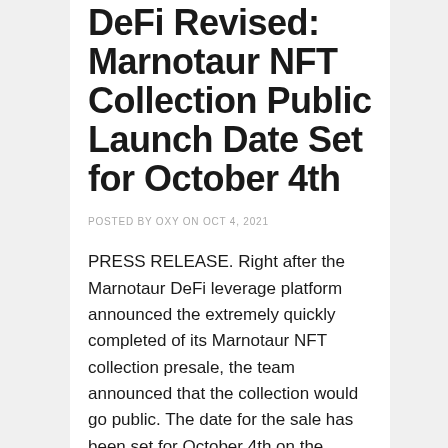DeFi Revised: Marnotaur NFT Collection Public Launch Date Set for October 4th
POSTED BY OXY ON OCT 4, 2021
PRESS RELEASE. Right after the Marnotaur DeFi leverage platform announced the extremely quickly completed of its Marnotaur NFT collection presale, the team announced that the collection would go public. The date for the sale has been set for October 4th on the